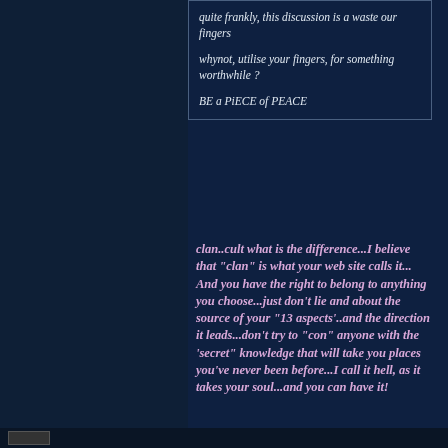quite frankly, this discussion is a waste our fingers

whynot, utilise your fingers, for something worthwhile ?

BE a PiECE of PEACE
clan..cult what is the difference...I believe that "clan" is what your web site calls it...
And you have the right to belong to anything you choose...just don't lie and about the source of your "13 aspects'..and the direction it leads...don't try to "con" anyone with the 'secret" knowledge that will take you places you've never been before...I call it hell, as it takes your soul...and you can have it!